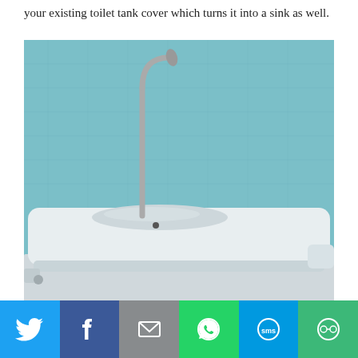your existing toilet tank cover which turns it into a sink as well.
[Figure (photo): A white ceramic toilet tank lid converted into a sink, with a curved chrome faucet/tap mounted on top, set against a light teal/blue textured wall background.]
[Figure (infographic): Social sharing bar with six buttons: Twitter (blue), Facebook (dark blue), Email (gray), WhatsApp (green), SMS (light blue), More (green) — each with its respective icon in white.]